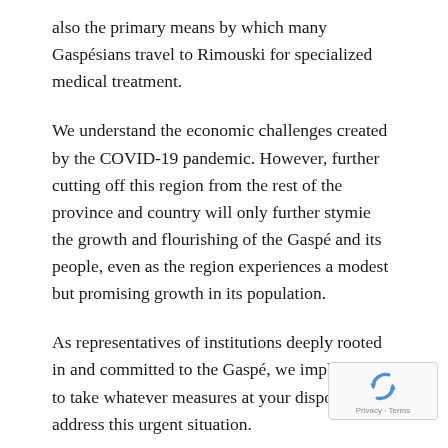also the primary means by which many Gaspésians travel to Rimouski for specialized medical treatment.
We understand the economic challenges created by the COVID-19 pandemic. However, further cutting off this region from the rest of the province and country will only further stymie the growth and flourishing of the Gaspé and its people, even as the region experiences a modest but promising growth in its population.
As representatives of institutions deeply rooted in and committed to the Gaspé, we implore you to take whatever measures at your disposal to address this urgent situation.
Sincerely yours,